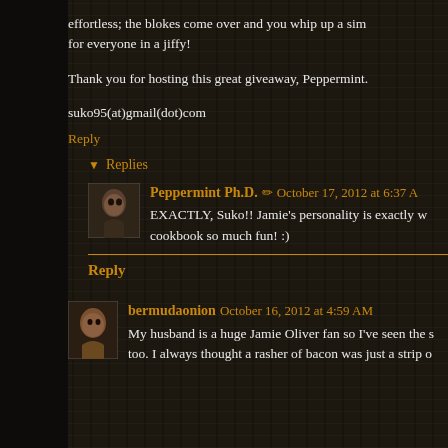effortless; the blokes come over and you whip up a sim... for everyone in a jiffy!
Thank you for hosting this great giveaway, Peppermint.
suko95(at)gmail(dot)com
Reply
Replies
Peppermint Ph.D. ✏ October 17, 2012 at 6:37 A...
EXACTLY, Suko!! Jamie's personality is exactly w... cookbook so much fun! :)
Reply
bermudaonion October 16, 2012 at 4:59 AM
My husband is a huge Jamie Oliver fan so I've seen the s... too. I always thought a rasher of bacon was just a strip o...